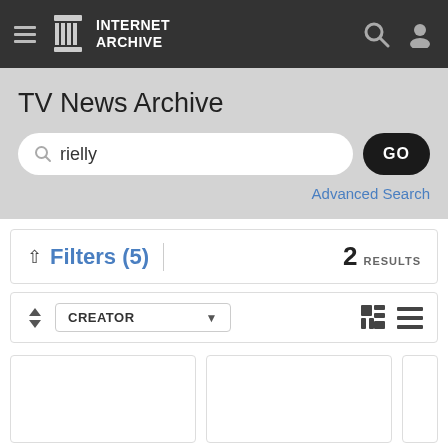Internet Archive
TV News Archive
rielly
Advanced Search
Filters (5)   2 RESULTS
CREATOR